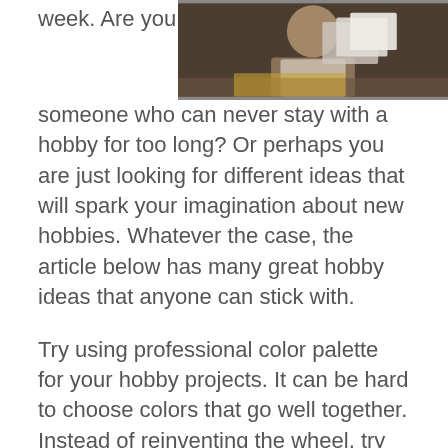[Figure (photo): Photo of a person looking at pictures or documents, partial view at top right of page]
week. Are you someone who can never stay with a hobby for too long? Or perhaps you are just looking for different ideas that will spark your imagination about new hobbies. Whatever the case, the article below has many great hobby ideas that anyone can stick with.
Try using professional color palette for your hobby projects. It can be hard to choose colors that go well together. Instead of reinventing the wheel, try using some color palettes that are tried-and-true combinations. They can make your projects look more attractive. You can find these in paint brochures at your local paint store.
If you are looking for a new hobby, reading is one of the most inexpensive hobbies that you can have. To read a great book all you need is a membership to your local